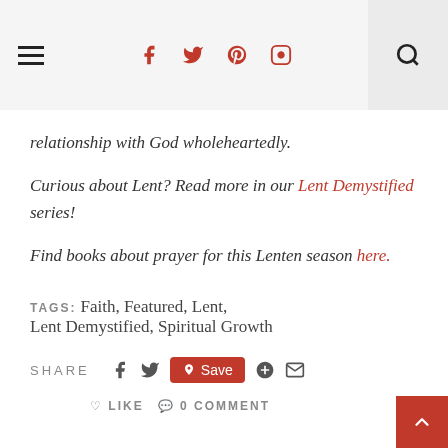Navigation bar with hamburger menu, social icons (Facebook, Twitter, Pinterest, Instagram), and search button
relationship with God wholeheartedly.
Curious about Lent? Read more in our Lent Demystified series!
Find books about prayer for this Lenten season here.
TAGS: Faith, Featured, Lent, Lent Demystified, Spiritual Growth
SHARE [Facebook] [Twitter] [Save] [Google+] [Email] ♡ LIKE 💬 0 COMMENT